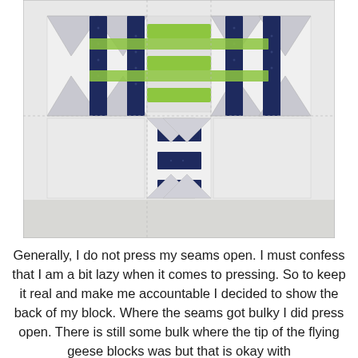[Figure (photo): Back side of a quilt block laid on a white surface, showing flying geese blocks assembled together with navy/dark blue dotted fabric, lime green fabric strips, and white/gray fabric pieces. Seams visible on the back.]
Generally, I do not press my seams open. I must confess that I am a bit lazy when it comes to pressing. So to keep it real and make me accountable I decided to show the back of my block. Where the seams got bulky I did press open. There is still some bulk where the tip of the flying geese blocks was but that is okay with